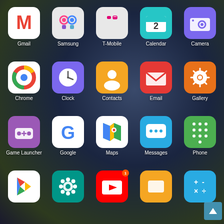[Figure (screenshot): Android smartphone home screen showing app icons in a 5-column grid. Row 1: Gmail, Samsung, T-Mobile, Calendar, Camera. Row 2: Chrome, Clock, Contacts, Email, Gallery. Row 3: Game Launcher, Google, Maps, Messages, Phone. Row 4 (partial): Play Store, Settings, YouTube (badge:1), Wallet/Samsung Pay, Calculator.]